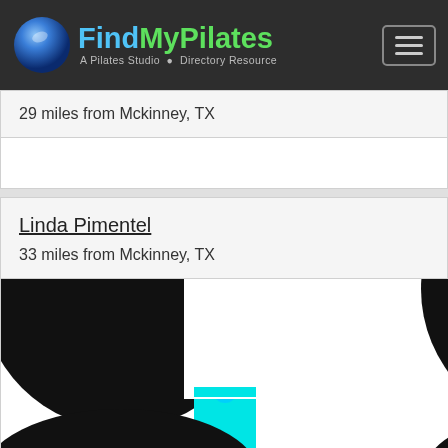[Figure (logo): FindMyPilates logo with blue sphere and green/teal text reading 'FindMyPilates - A Pilates Studio Directory Resource' on dark navbar]
29 miles from Mckinney, TX
Linda Pimentel
33 miles from Mckinney, TX
[Figure (logo): Partial Pilates-related logo with black circular shapes and cyan/turquoise vertical bar in center, on white background]